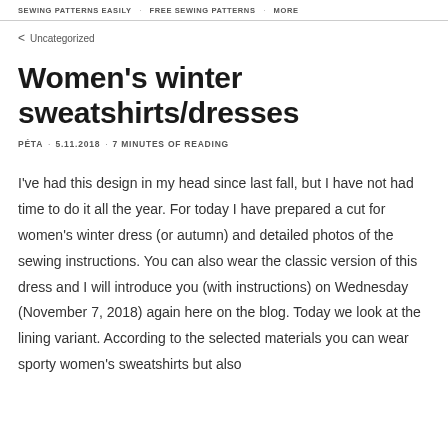SEWING PATTERNS EASILY · FREE SEWING PATTERNS · MORE
< Uncategorized
Women's winter sweatshirts/dresses
PÉTA · 5.11.2018 · 7 MINUTES OF READING
I've had this design in my head since last fall, but I have not had time to do it all the year. For today I have prepared a cut for women's winter dress (or autumn) and detailed photos of the sewing instructions. You can also wear the classic version of this dress and I will introduce you (with instructions) on Wednesday (November 7, 2018) again here on the blog. Today we look at the lining variant. According to the selected materials you can wear sporty women's sweatshirts but also